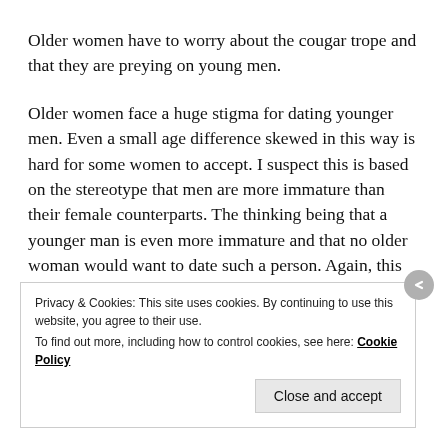Older women have to worry about the cougar trope and that they are preying on young men.
Older women face a huge stigma for dating younger men. Even a small age difference skewed in this way is hard for some women to accept. I suspect this is based on the stereotype that men are more immature than their female counterparts. The thinking being that a younger man is even more immature and that no older woman would want to date such a person. Again, this notion is ridiculous but it doesn’t change the way some people
Privacy & Cookies: This site uses cookies. By continuing to use this website, you agree to their use.
To find out more, including how to control cookies, see here: Cookie Policy
Close and accept